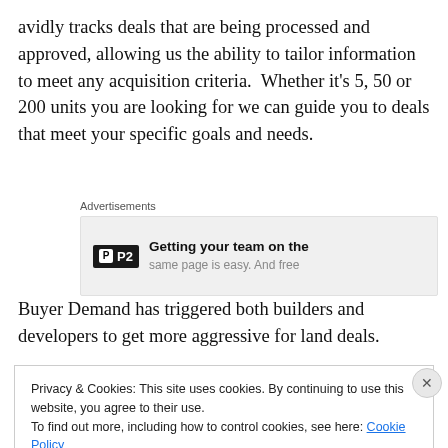avidly tracks deals that are being processed and approved, allowing us the ability to tailor information to meet any acquisition criteria.  Whether it's 5, 50 or 200 units you are looking for we can guide you to deals that meet your specific goals and needs.
[Figure (screenshot): Advertisement block showing P2 logo and text 'Getting your team on the same page is easy. And free']
Buyer Demand has triggered both builders and developers to get more aggressive for land deals.
Privacy & Cookies: This site uses cookies. By continuing to use this website, you agree to their use.
To find out more, including how to control cookies, see here: Cookie Policy